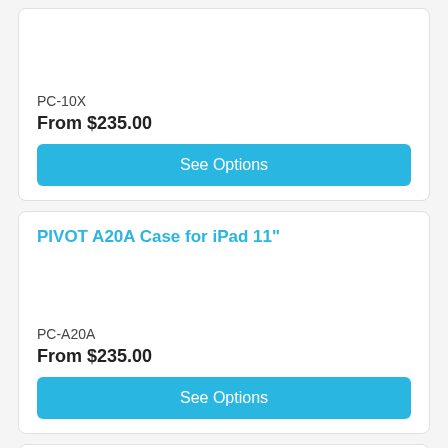PC-10X
From $235.00
See Options
PIVOT A20A Case for iPad 11"
PC-A20A
From $235.00
See Options
PIVOT OMNI 97X Case for iPad 9.7"